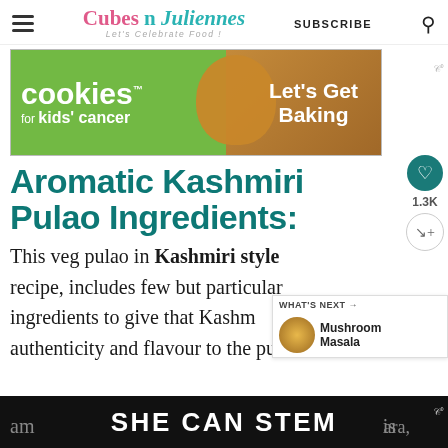Cubes n Juliennes — Let's Celebrate Food! | SUBSCRIBE
[Figure (photo): Advertisement banner: cookies for kids' cancer — Let's Get Baking, green background with cookie image]
Aromatic Kashmiri Pulao Ingredients:
This veg pulao in Kashmiri style recipe, includes few but particular ingredients to give that Kashmiri authenticity and flavour to the pulav. I am... is ...ara,
[Figure (photo): What's Next widget: Mushroom Masala with thumbnail image]
[Figure (photo): Bottom advertisement overlay: SHE CAN STEM]